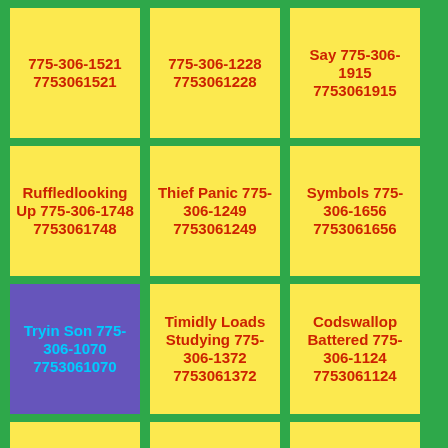775-306-1521
7753061521
775-306-1228
7753061228
Say 775-306-1915
7753061915
Ruffledlooking Up 775-306-1748
7753061748
Thief Panic 775-306-1249
7753061249
Symbols 775-306-1656
7753061656
Tryin Son 775-306-1070
7753061070
Timidly Loads Studying 775-306-1372
7753061372
Codswallop Battered 775-306-1124
7753061124
Handed Lap 775-306-1190
7753061190
Form Pliable Led 775-306-1238
7753061238
Kept Piercing 775-306-1442
7753061442